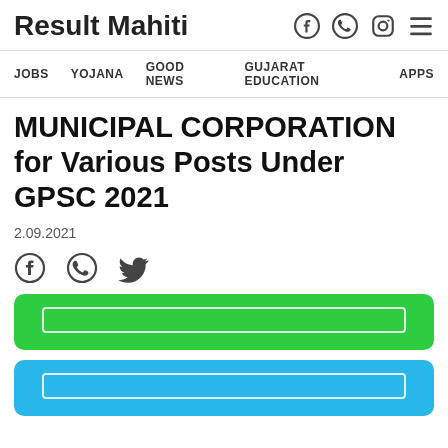Result Mahiti
JOBS  YOJANA  GOOD NEWS  GUJARAT EDUCATION  APPS
MUNICIPAL CORPORATION for Various Posts Under GPSC 2021
2.09.2021
[Figure (infographic): Social share icons: Facebook, WhatsApp, Twitter]
[Figure (infographic): Green button with Gujarati text link]
[Figure (infographic): Blue button with Gujarati text link]